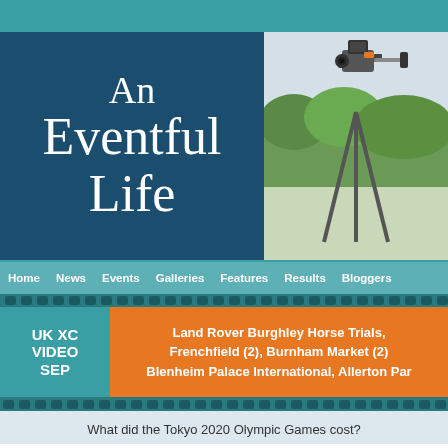[Figure (logo): An Eventful Life logo — white hand-lettered text on dark blue/teal background]
[Figure (photo): Outdoor photo of a video camera on a tripod at what appears to be an equestrian or sports event, with green trees in background]
Home | News | Events | Galleries | Features | Results | Bloggers
UK XC VIDEO SEP
Land Rover Burghley Horse Trials, Frenchfield (2), Burnham Market (2) Blenheim Palace International, Allerton Par
What did the Tokyo 2020 Olympic Games cost?